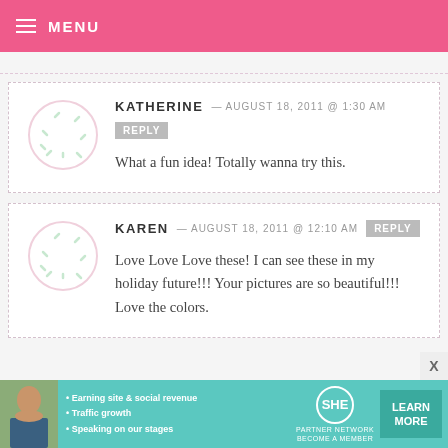MENU
KATHERINE — AUGUST 18, 2011 @ 1:30 AM  REPLY
What a fun idea! Totally wanna try this.
KAREN — AUGUST 18, 2011 @ 12:10 AM  REPLY
Love Love Love these! I can see these in my holiday future!!! Your pictures are so beautiful!!! Love the colors.
[Figure (infographic): SHE Partner Network advertisement banner with woman photo, bullet points about earning site & social revenue, traffic growth, speaking on our stages, and a Learn More button]